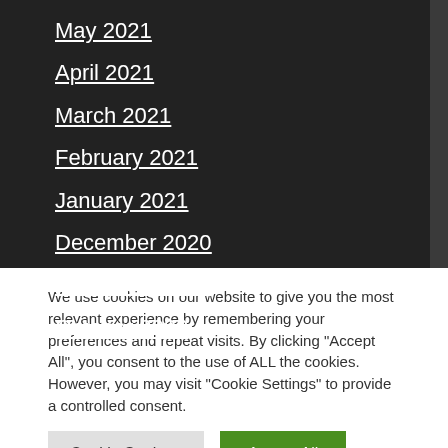May 2021
April 2021
March 2021
February 2021
January 2021
December 2020
November 2020
October 2020
We use cookies on our website to give you the most relevant experience by remembering your preferences and repeat visits. By clicking "Accept All", you consent to the use of ALL the cookies. However, you may visit "Cookie Settings" to provide a controlled consent.
Cookie Settings
Accept All